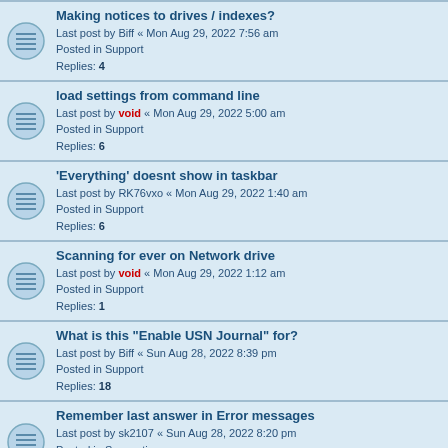Making notices to drives / indexes?
Last post by Biff « Mon Aug 29, 2022 7:56 am
Posted in Support
Replies: 4
load settings from command line
Last post by void « Mon Aug 29, 2022 5:00 am
Posted in Support
Replies: 6
'Everything' doesnt show in taskbar
Last post by RK76vxo « Mon Aug 29, 2022 1:40 am
Posted in Support
Replies: 6
Scanning for ever on Network drive
Last post by void « Mon Aug 29, 2022 1:12 am
Posted in Support
Replies: 1
What is this "Enable USN Journal" for?
Last post by Biff « Sun Aug 28, 2022 8:39 pm
Posted in Support
Replies: 18
Remember last answer in Error messages
Last post by sk2107 « Sun Aug 28, 2022 8:20 pm
Posted in Suggestions
Replies: 4
Pot Player
Last post by harryray2 « Sat Aug 27, 2022 8:38 pm
Posted in Off-topic discussion
Go back to the view before - history of result list windows / views?
Last post by Biff « Sat Aug 27, 2022 7:57 pm